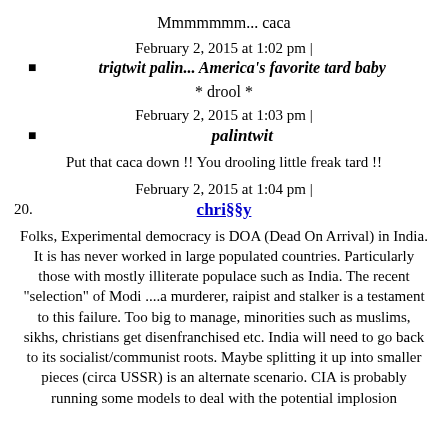Mmmmmmm... caca
February 2, 2015 at 1:02 pm |
trigtwit palin... America's favorite tard baby
* drool *
February 2, 2015 at 1:03 pm |
palintwit
Put that caca down !! You drooling little freak tard !!
February 2, 2015 at 1:04 pm |
20. chri§§y
Folks, Experimental democracy is DOA (Dead On Arrival) in India. It is has never worked in large populated countries. Particularly those with mostly illiterate populace such as India. The recent "selection" of Modi ....a murderer, raipist and stalker is a testament to this failure. Too big to manage, minorities such as muslims, sikhs, christians get disenfranchised etc. India will need to go back to its socialist/communist roots. Maybe splitting it up into smaller pieces (circa USSR) is an alternate scenario. CIA is probably running some models to deal with the potential implosion